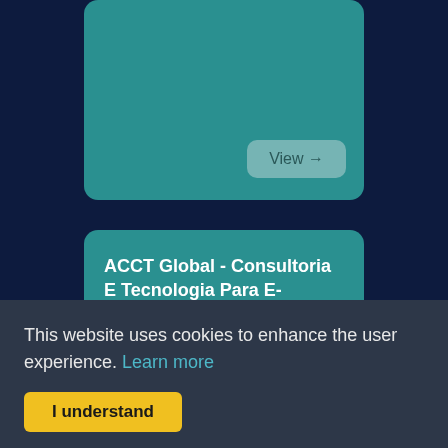[Figure (screenshot): Partial teal card with a 'View →' button visible at top of page]
ACCT Global - Consultoria E Tecnologia Para E-Commerce.
Consultoria gil de engenharia de software especializada em e...
This website uses cookies to enhance the user experience. Learn more
I understand